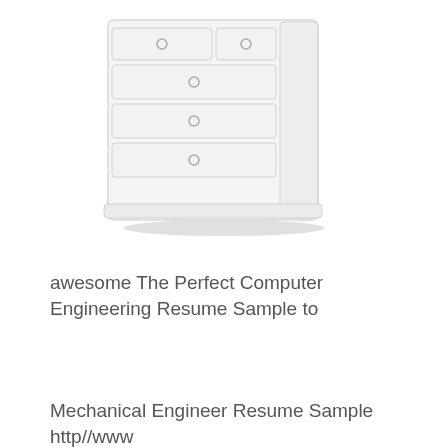[Figure (illustration): Top portion of a white dresser/chest of drawers illustration, showing drawer handles/knobs, cropped at top]
awesome The Perfect Computer Engineering Resume Sample to
[Figure (illustration): Full white dresser/chest of drawers illustration with multiple drawers and round knobs, slightly angled perspective]
Mechanical Engineer Resume Sample http//www